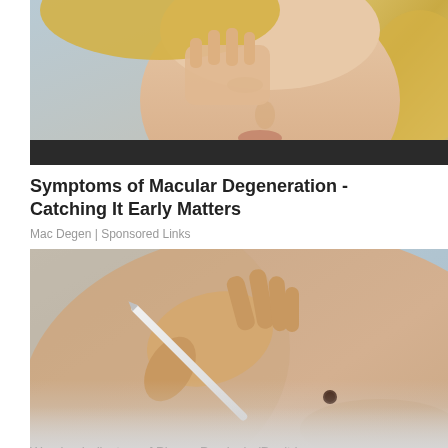[Figure (photo): Photo of a blonde woman holding her hand near her eye, suggesting eye discomfort or concern]
Symptoms of Macular Degeneration - Catching It Early Matters
Mac Degen | Sponsored Links
[Figure (photo): Close-up photo of a hand using a pen or stylus pointing near a mole on a person's back skin]
Warning Indicators of Plaque Psoriasis (Don't Ignore